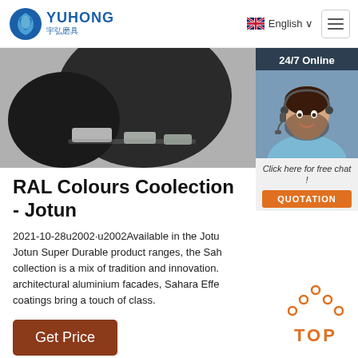YUHONG 宇弘磨具 | English
[Figure (photo): Product photo showing dark grinding/polishing tool accessories on a grey background]
[Figure (photo): 24/7 Online customer service widget with a female consultant wearing a headset, and a QUOTATION button]
RAL Colours Coolection - Jotun
2021-10-28u2002·u2002Available in the Jotun Super Durable product ranges, the Sahara collection is a mix of tradition and innovation. For architectural aluminium facades, Sahara Effect coatings bring a touch of class.
Get Price